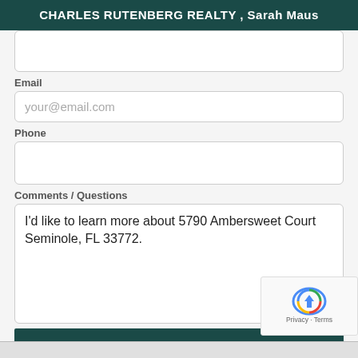CHARLES RUTENBERG REALTY , Sarah Maus
Email
your@email.com
Phone
Comments / Questions
I'd like to learn more about 5790 Ambersweet Court Seminole, FL 33772.
Send Message